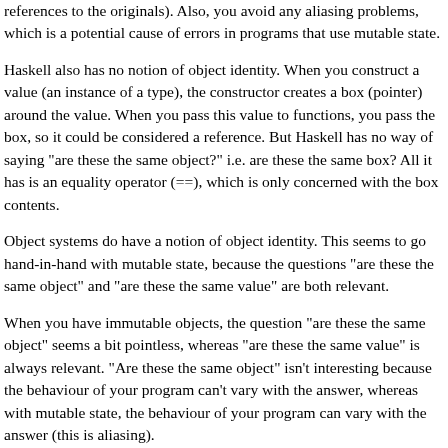references to the originals). Also, you avoid any aliasing problems, which is a potential cause of errors in programs that use mutable state.
Haskell also has no notion of object identity. When you construct a value (an instance of a type), the constructor creates a box (pointer) around the value. When you pass this value to functions, you pass the box, so it could be considered a reference. But Haskell has no way of saying "are these the same object?" i.e. are these the same box? All it has is an equality operator (==), which is only concerned with the box contents.
Object systems do have a notion of object identity. This seems to go hand-in-hand with mutable state, because the questions "are these the same object" and "are these the same value" are both relevant.
When you have immutable objects, the question "are these the same object" seems a bit pointless, whereas "are these the same value" is always relevant. "Are these the same object" isn't interesting because the behaviour of your program can't vary with the answer, whereas with mutable state, the behaviour of your program can vary with the answer (this is aliasing).
If you have mutable state then you can't guarantee referential